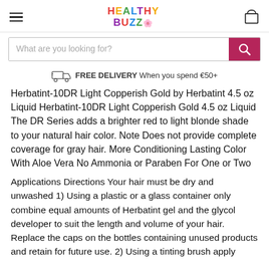Healthy Buzz logo with hamburger menu and cart icon
What are you looking for?
FREE DELIVERY When you spend €50+
Herbatint-10DR Light Copperish Gold by Herbatint 4.5 oz Liquid Herbatint-10DR Light Copperish Gold 4.5 oz Liquid The DR Series adds a brighter red to light blonde shade to your natural hair color. Note Does not provide complete coverage for gray hair. More Conditioning Lasting Color With Aloe Vera No Ammonia or Paraben For One or Two
Applications Directions Your hair must be dry and unwashed 1) Using a plastic or a glass container only combine equal amounts of Herbatint gel and the glycol developer to suit the length and volume of your hair. Replace the caps on the bottles containing unused products and retain for future use. 2) Using a tinting brush apply